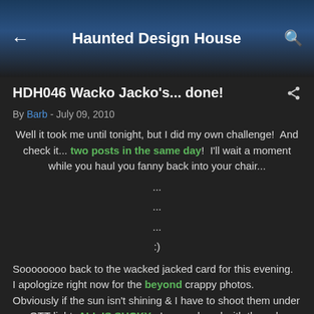← Haunted Design House 🔍
HDH046 Wacko Jacko's... done!
By Barb - July 09, 2010
Well it took me until tonight, but I did my own challenge!  And check it... two posts in the same day!  I'll wait a moment while you haul you fanny back into your chair...
...
...
...
:)
Soooooooo back to the wacked jacked card for this evening.  I apologize right now for the beyond crappy photos.  Obviously if the sun isn't shining & I have to shoot them under my OTT light, ALL IS SUCKY.  I even played with the color balance